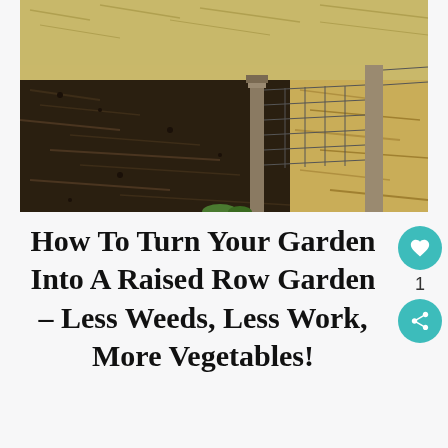[Figure (photo): Outdoor garden scene showing mulched raised row beds with dark organic mulch covering soil between rows, wooden fence posts with wire fencing visible, dry straw scattered around, taken in bright daylight.]
How To Turn Your Garden Into A Raised Row Garden – Less Weeds, Less Work, More Vegetables!